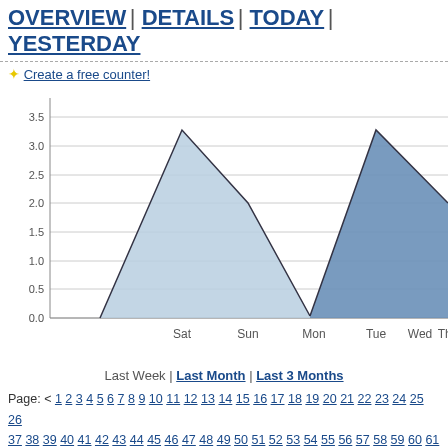OVERVIEW | DETAILS | TODAY | YESTERDAY
✦ Create a free counter!
[Figure (area-chart): ]
Last Week | Last Month | Last 3 Months
Page: < 1 2 3 4 5 6 7 8 9 10 11 12 13 14 15 16 17 18 19 20 21 22 23 24 25 26 37 38 39 40 41 42 43 44 45 46 47 48 49 50 51 52 53 54 55 56 57 58 59 60 61 72 73 74 75 76 77 78 79 80 81 82 83 84 85 86 87 88 89 90 91 92 93 94 95 96
| Date | V |
| --- | --- |
| January 11, 2013 | 5 |
| January 10, 2013 | 3 |